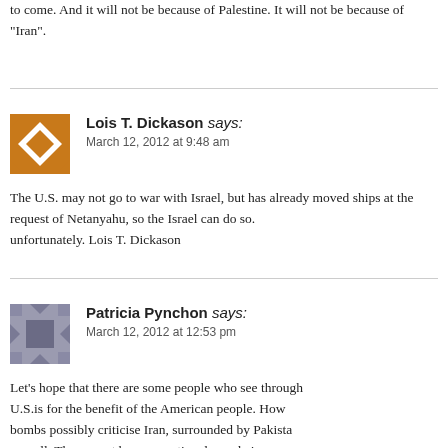to come. And it will not be because of Palestine. It will be because of "Iran".
Lois T. Dickason says: March 12, 2012 at 9:48 am
The U.S. may not go to war with Israel, but has already moved ships at the request of Netanyahu, so the Israel can do so. That is enough, unfortunately. Lois T. Dickason
Patricia Pynchon says: March 12, 2012 at 12:53 pm
Let's hope that there are some people who see that the role of the U.S.is for the benefit of the American people. How can a nation with bombs possibly criticise Iran, surrounded by Pakistan as well. There must be some rational people in our g